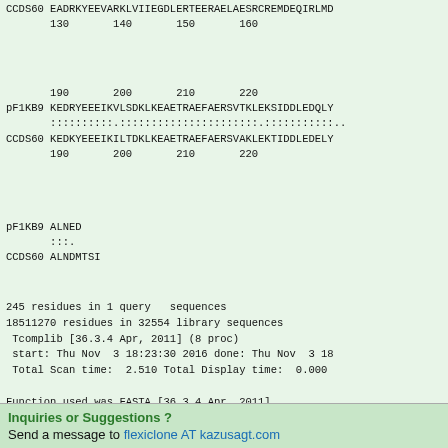CCDS60 EADRKYEEVARKLVIIEGDLERTEERAELAESRCREMDEQIRLMD
       130       140       150       160
190       200       210       220
pF1KB9 KEDRYEEEIKVLSDKLKEAETRAEFAERSVTKLEKSIDDLEDQLY
       ::::::::::::.:::::::::::::::::::::.::::::::::::::
CCDS60 KEDKYEEEIKILTDKLKEAETRAEFAERSVAKLEKTIDDLEDELY
       190       200       210       220
pF1KB9 ALNED
       ::.
CCDS60 ALNDMTSI
245 residues in 1 query   sequences
18511270 residues in 32554 library sequences
 Tcomplib [36.3.4 Apr, 2011] (8 proc)
 start: Thu Nov  3 18:23:30 2016 done: Thu Nov  3 18
 Total Scan time:  2.510 Total Display time:  0.000

Function used was FASTA [36.3.4 Apr, 2011]
Inquiries or Suggestions ?
Send a message to flexiclone AT kazusagt.com